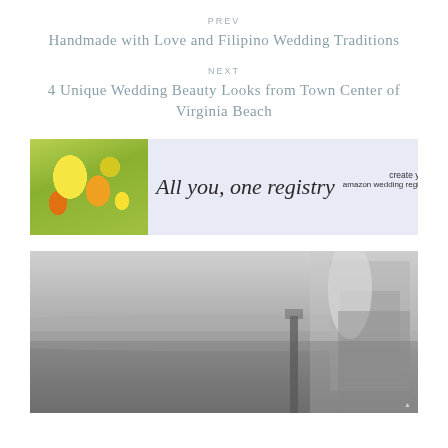PREV
Handmade with Love and Filipino Wedding Traditions
NEXT
4 Unique Wedding Beauty Looks from Town Center of Virginia Beach
[Figure (photo): Amazon wedding registry advertisement banner with floral photo on left, script text 'All you, one registry' in center, and 'create your amazon wedding registry' call to action on right, on lavender background]
[Figure (photo): Black and white photo of a person in a white dress standing on a beach, holding sandals, with water and beach scenery in the background]